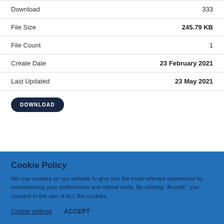| Property | Value |
| --- | --- |
| Download | 333 |
| File Size | 245.79 KB |
| File Count | 1 |
| Create Date | 23 February 2021 |
| Last Updated | 23 May 2021 |
DOWNLOAD
Cookie Policy
We use cookies on our website to give you the most relevant experience by remembering your preferences and repeat visits. By clicking “Accept”, you consent to the use of ALL the cookies.
Cookie settings   ACCEPT